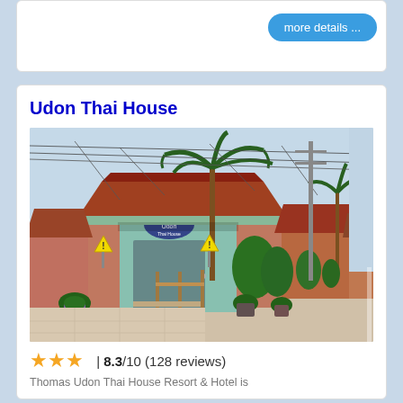[Figure (screenshot): More details button on a white card, partial view of a hotel booking website]
Udon Thai House
[Figure (photo): Photo of Udon Thai House exterior showing a Thai-style building with red tile roof, palm trees, yellow warning signs, potted plants, and a street in front]
★★★ | 8.3/10 (128 reviews)
Thomas Udon Thai House Resort & Hotel is